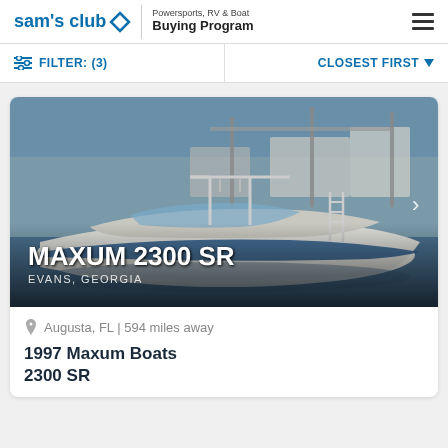sam's club ◇ | Powersports, RV & Boat Buying Program
FILTER: (3) | CLOSEST FIRST
[Figure (photo): White and blue Maxum 2300 SR boat docked at a marina with a T-top frame, overlaid with text MAXUM 2300 SR and EVANS, GEORGIA]
Augusta, FL | 594 miles away
1997 Maxum Boats
2300 SR